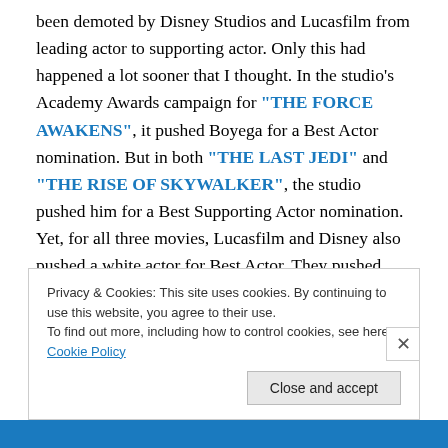been demoted by Disney Studios and Lucasfilm from leading actor to supporting actor. Only this had happened a lot sooner that I thought. In the studio's Academy Awards campaign for "THE FORCE AWAKENS", it pushed Boyega for a Best Actor nomination. But in both "THE LAST JEDI" and "THE RISE OF SKYWALKER", the studio pushed him for a Best Supporting Actor nomination. Yet, for all three movies, Lucasfilm and Disney also pushed a white actor for Best Actor. They pushed Harrison Ford (along with Boyega) "THE FORCE AWAKENS". They pushed Mark Hamill for Best Actor in "THE LAST
Privacy & Cookies: This site uses cookies. By continuing to use this website, you agree to their use.
To find out more, including how to control cookies, see here: Cookie Policy